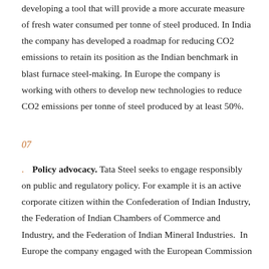developing a tool that will provide a more accurate measure of fresh water consumed per tonne of steel produced. In India the company has developed a roadmap for reducing CO2 emissions to retain its position as the Indian benchmark in blast furnace steel-making. In Europe the company is working with others to develop new technologies to reduce CO2 emissions per tonne of steel produced by at least 50%.
07
Policy advocacy. Tata Steel seeks to engage responsibly on public and regulatory policy. For example it is an active corporate citizen within the Confederation of Indian Industry, the Federation of Indian Chambers of Commerce and Industry, and the Federation of Indian Mineral Industries. In Europe the company engaged with the European Commission